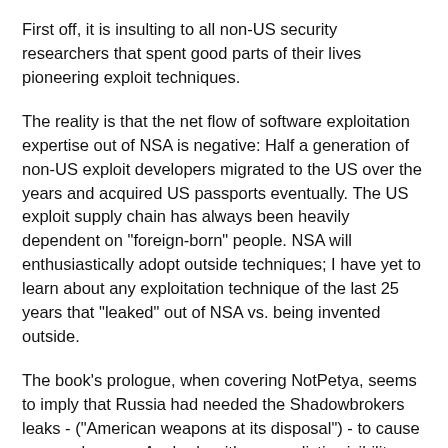First off, it is insulting to all non-US security researchers that spent good parts of their lives pioneering exploit techniques.
The reality is that the net flow of software exploitation expertise out of NSA is negative: Half a generation of non-US exploit developers migrated to the US over the years and acquired US passports eventually. The US exploit supply chain has always been heavily dependent on "foreign-born" people. NSA will enthusiastically adopt outside techniques; I have yet to learn about any exploitation technique of the last 25 years that "leaked" out of NSA vs. being invented outside.
The book's prologue, when covering NotPetya, seems to imply that Russia had needed the Shadowbrokers leaks - ("American weapons at its disposal") - to cause severe damage. Anybody with any realistic visibility into both the history of heap exploitation and the vulnerability development community knows this to be absolutely wrong.
Secondly, it seems to willfully ignore recent US history with regards to human rights. Somehow implying that the French police or the Norwegian government have a worse human